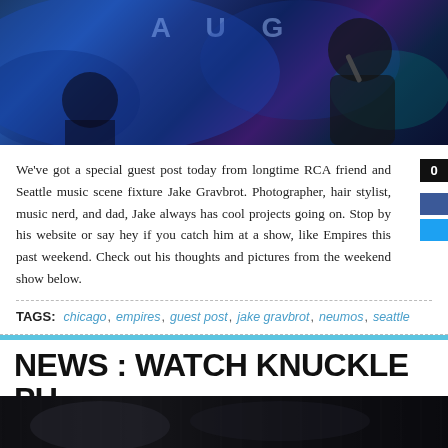[Figure (photo): Concert photo showing a performer singing on stage with blue stage lighting and partial text 'AUG' visible in background]
We've got a special guest post today from longtime RCA friend and Seattle music scene fixture Jake Gravbrot. Photographer, hair stylist, music nerd, and dad, Jake always has cool projects going on. Stop by his website or say hey if you catch him at a show, like Empires this past weekend. Check out his thoughts and pictures from the weekend show below.
TAGS: chicago , empires , guest post , jake gravbrot , neumos , seattle
NEWS : WATCH KNUCKLE PU... VIDEO FOR 'NO GOOD'
Posted on June 26, 2014 12:46 pm in News
[Figure (photo): Dark concert/venue photo at bottom of page]